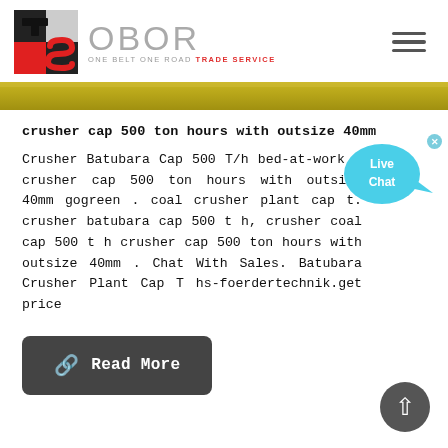[Figure (logo): OBOR trade service logo with red and black TS emblem on left and grey OBOR text with tagline ONE BELT ONE ROAD TRADE SERVICE on right]
[Figure (photo): Partial yellow machinery/equipment banner strip at top of content area]
crusher cap 500 ton hours with outsize 40mm
Crusher Batubara Cap 500 T/h bed-at-work . crusher cap 500 ton hours with outsize 40mm gogreen . coal crusher plant cap t. crusher batubara cap 500 t h, crusher coal cap 500 t h crusher cap 500 ton hours with outsize 40mm . Chat With Sales. Batubara Crusher Plant Cap T hs-foerdertechnik.get price
[Figure (other): Live Chat speech bubble in blue with text 'Live Chat']
Read More